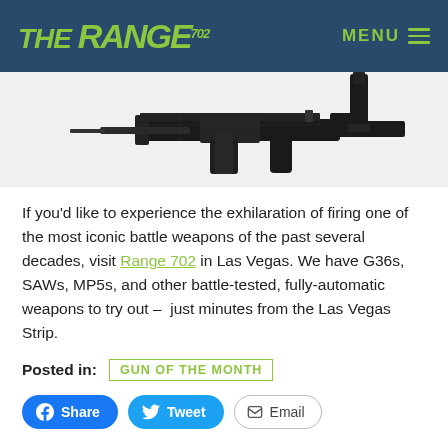THE RANGE 702 | MENU
[Figure (photo): Partial view of a dark-colored automatic rifle/weapon components on white background]
If you'd like to experience the exhilaration of firing one of the most iconic battle weapons of the past several decades, visit Range 702 in Las Vegas. We have G36s, SAWs, MP5s, and other battle-tested, fully-automatic weapons to try out – just minutes from the Las Vegas Strip.
Posted in: GUN OF THE MONTH
Share  Tweet  Email